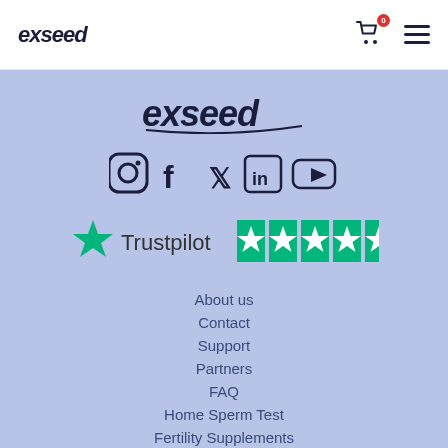exseed header with cart (0) and menu icon
[Figure (logo): exseed logo centered on blue-lavender background]
[Figure (infographic): Social media icons: Instagram, Facebook, Twitter, LinkedIn, YouTube]
[Figure (logo): Trustpilot logo with 5 green star rating boxes]
About us
Contact
Support
Partners
FAQ
Home Sperm Test
Fertility Supplements